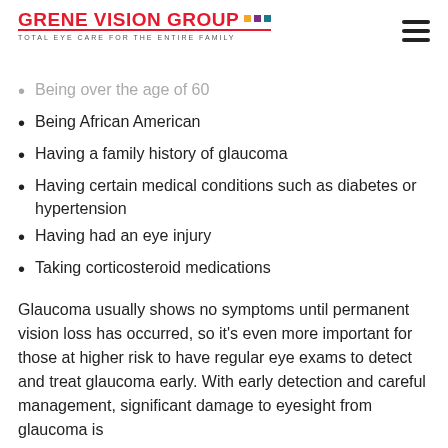GRENE VISION GROUP — TOTAL EYE CARE FOR THE ENTIRE FAMILY
Being over the age of 60
Being African American
Having a family history of glaucoma
Having certain medical conditions such as diabetes or hypertension
Having had an eye injury
Taking corticosteroid medications
Glaucoma usually shows no symptoms until permanent vision loss has occurred, so it's even more important for those at higher risk to have regular eye exams to detect and treat glaucoma early. With early detection and careful management, significant damage to eyesight from glaucoma is